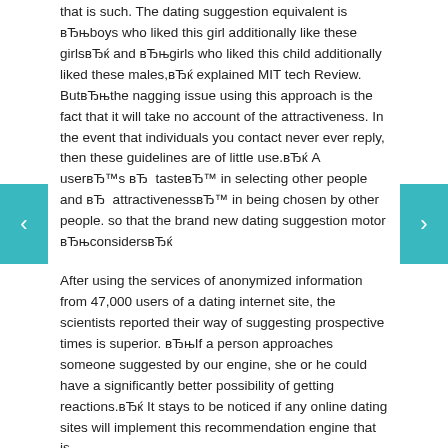that is such. The dating suggestion equivalent is вЂњboys who liked this girl additionally like these girlsвЂќ and вЂњgirls who liked this child additionally liked these males,вЂќ explained MIT tech Review. ButвЂњthe nagging issue using this approach is the fact that it will take no account of the attractiveness. In the event that individuals you contact never ever reply, then these guidelines are of little use.вЂќ A userвЂ™s вЂ tasteвЂ™ in selecting other people and вЂ attractivenessвЂ™ in being chosen by other people. so that the brand new dating suggestion motor вЂњconsidersвЂќ
After using the services of anonymized information from 47,000 users of a dating internet site, the scientists reported their way of suggesting prospective times is superior. вЂњIf a person approaches someone suggested by our engine, she or he could have a significantly better possibility of getting reactions.вЂќ It stays to be noticed if any online dating sites will implement this recommendation engine that is